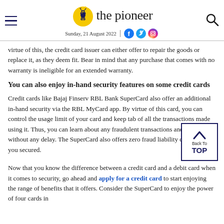the pioneer — Sunday, 21 August 2022
virtue of this, the credit card issuer can either offer to repair the goods or replace it, as they deem fit. Bear in mind that any purchase that comes with no warranty is ineligible for an extended warranty.
You can also enjoy in-hand security features on some credit cards
Credit cards like Bajaj Finserv RBL Bank SuperCard also offer an additional in-hand security via the RBL MyCard app. By virtue of this card, you can control the usage limit of your card and keep tab of all the transactions made using it. Thus, you can learn about any fraudulent transactions and report them without any delay. The SuperCard also offers zero fraud liability cover to keep you secured.
Now that you know the difference between a credit card and a debit card when it comes to security, go ahead and apply for a credit card to start enjoying the range of benefits that it offers. Consider the SuperCard to enjoy the power of four cards in